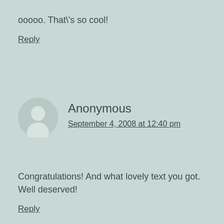ooooo. That\'s so cool!
Reply
Anonymous
September 4, 2008 at 12:40 pm
Congratulations! And what lovely text you got. Well deserved!
Reply